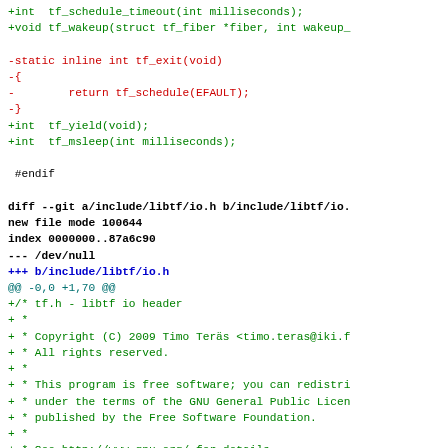[Figure (screenshot): A code diff view showing additions and removals in a C header file. Red lines show removed code (tf_exit function), green lines show added code (tf_yield, tf_msleep, and new file include/libtf/io.h with copyright header), blue/cyan lines show diff metadata.]